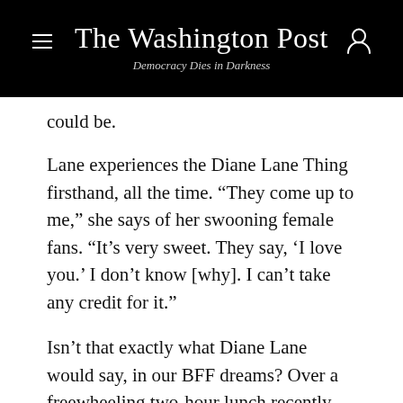The Washington Post
Democracy Dies in Darkness
could be.
Lane experiences the Diane Lane Thing firsthand, all the time. “They come up to me,” she says of her swooning female fans. “It’s very sweet. They say, ‘I love you.’ I don’t know [why]. I can’t take any credit for it.”
Isn’t that exactly what Diane Lane would say, in our BFF dreams? Over a freewheeling two-hour lunch recently, Lane was mostly everything her admirers would expect: thoughtful, candid, confiding, self-deprecating and instinctively caretaking, at one point passing a basket of bread, taking a piece and saying,